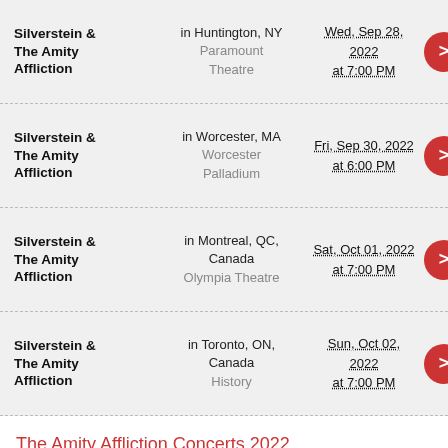Silverstein & The Amity Affliction in Huntington, NY Paramount Theatre Wed, Sep 28, 2022 at 7:00 PM
Silverstein & The Amity Affliction in Worcester, MA Worcester Palladium Fri, Sep 30, 2022 at 6:00 PM
Silverstein & The Amity Affliction in Montreal, QC, Canada Olympia Theatre Sat, Oct 01, 2022 at 7:00 PM
Silverstein & The Amity Affliction in Toronto, ON, Canada History Sun, Oct 02, 2022 at 7:00 PM
The Amity Affliction Concerts 2022
Get those ideal Ace of Spades seats or even Heaven Stage at Masquerade - GA, House Of Blues - Orlando and The Rapids Theatre - NY premium seats while there is still time! At tickethold